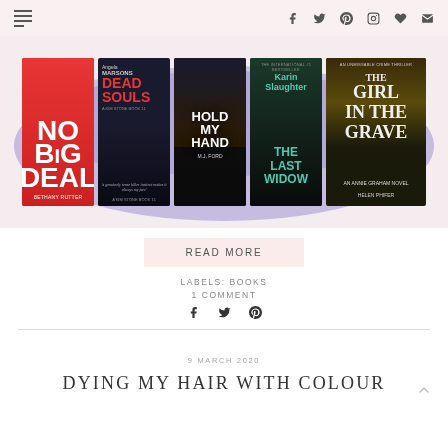Navigation bar with menu icon and social icons (f, Twitter, Pinterest, Instagram, heart, mail)
[Figure (illustration): Five book covers displayed in a row on a purple/blue watercolour background: No Big Deal by Bethany Rutter, Dead Souls by Angela Marsons, Hold My Hand by M.J. Ford, The Last Widow by Karin Slaughter, The Girl in the Grave by Helen Phifer]
READ MORE
LABELS: BOOKS
1 COMMENT
9 MARCH 2020
DYING MY HAIR WITH COLOUR